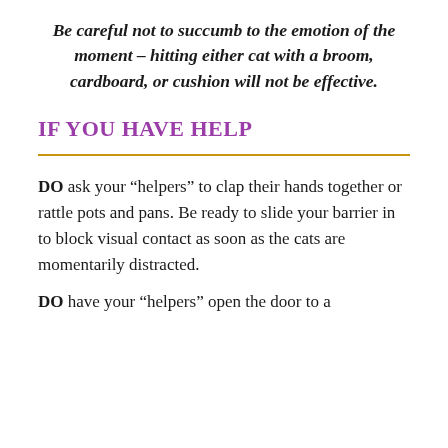Be careful not to succumb to the emotion of the moment – hitting either cat with a broom, cardboard, or cushion will not be effective.
IF YOU HAVE HELP
DO ask your “helpers” to clap their hands together or rattle pots and pans. Be ready to slide your barrier in to block visual contact as soon as the cats are momentarily distracted.
DO have your “helpers” open the door to a